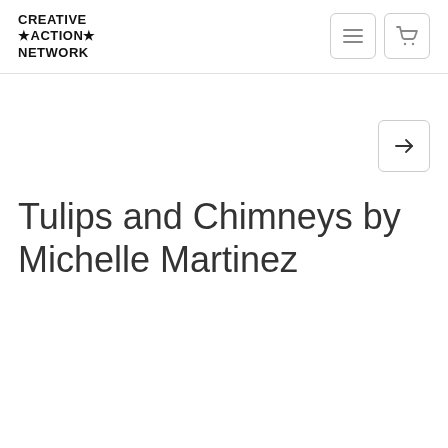CREATIVE ★ACTION★ NETWORK
Tulips and Chimneys by Michelle Martinez